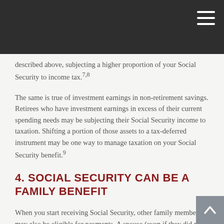described above, subjecting a higher proportion of your Social Security to income tax.7,8
The same is true of investment earnings in non-retirement savings. Retirees who have investment earnings in excess of their current spending needs may be subjecting their Social Security income to taxation. Shifting a portion of those assets to a tax-deferred instrument may be one way to manage taxation on your Social Security benefit.9
4. SOCIAL SECURITY CAN BE A FAMILY BENEFIT
When you start receiving Social Security, other family members may also be eligible for payments. A spouse (even if they did not have earned income)